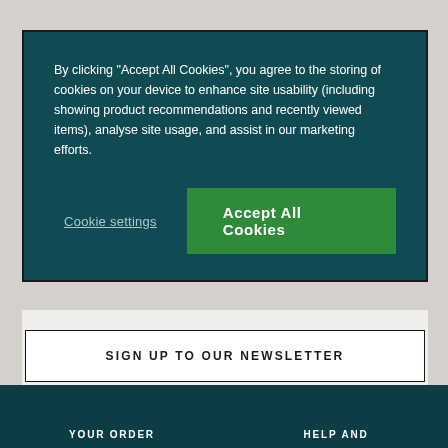By clicking “Accept All Cookies”, you agree to the storing of cookies on your device to enhance site usability (including showing product recommendations and recently viewed items), analyse site usage, and assist in our marketing efforts.
Cookie settings
Accept All Cookies
SIGN UP TO OUR NEWSLETTER
YOUR ORDER
HELP AND